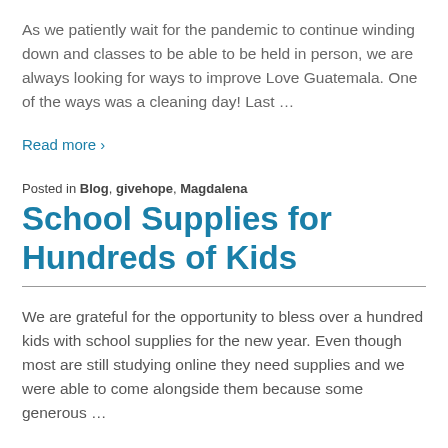As we patiently wait for the pandemic to continue winding down and classes to be able to be held in person, we are always looking for ways to improve Love Guatemala. One of the ways was a cleaning day! Last …
Read more ›
Posted in Blog, givehope, Magdalena
School Supplies for Hundreds of Kids
We are grateful for the opportunity to bless over a hundred kids with school supplies for the new year. Even though most are still studying online they need supplies and we were able to come alongside them because some generous …